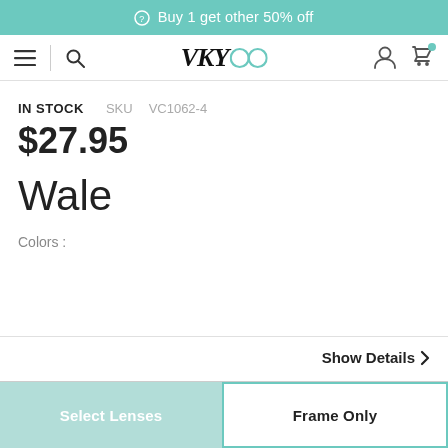⊘Buy 1 get other 50% off
[Figure (logo): VKYOO eyewear brand logo with navigation icons (hamburger menu, search, user, cart)]
IN STOCK   SKU VC1062-4
$27.95
Wale
Colors :
Show Details >
Select Lenses   Frame Only